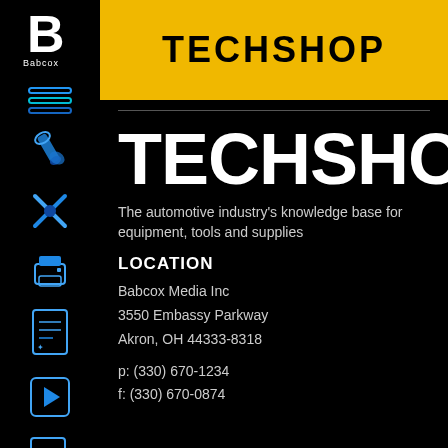[Figure (logo): Babcox logo in white B on black background with 'Babcox' text below]
[Figure (illustration): Blue sidebar navigation icons: hamburger menu, wrench/tool, tools cross, printer/equipment, document, play button, search with dollar sign]
TECHSHOP
TECHSHOP
The automotive industry's knowledge base for equipment, tools and supplies
LOCATION
Babcox Media Inc
3550 Embassy Parkway
Akron, OH 44333-8318
p: (330) 670-1234
f: (330) 670-0874